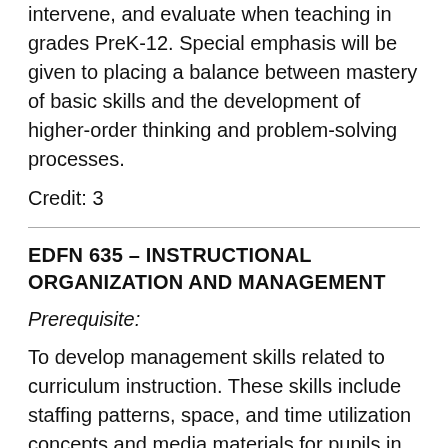intervene, and evaluate when teaching in grades PreK-12. Special emphasis will be given to placing a balance between mastery of basic skills and the development of higher-order thinking and problem-solving processes.
Credit: 3
EDFN 635 - INSTRUCTIONAL ORGANIZATION AND MANAGEMENT
Prerequisite:
To develop management skills related to curriculum instruction. These skills include staffing patterns, space, and time utilization concepts and media materials for pupils in formulating and implementing learning programs.
Credit: 3